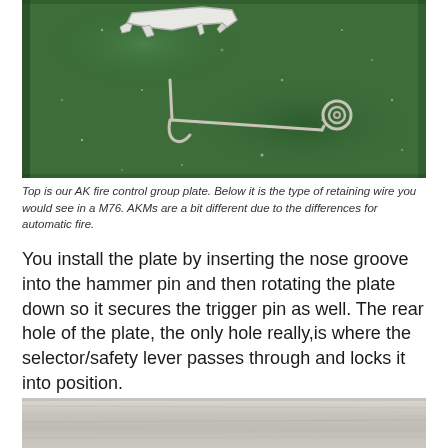[Figure (photo): Photo of AK fire control group plate (metal bracket/clip) and a retaining wire (bent wire with coil/spring end), both resting on a green carpet/fabric surface.]
Top is our AK fire control group plate. Below it is the type of retaining wire you would see in a M76. AKMs are a bit different due to the differences for automatic fire.
You install the plate by inserting the nose groove into the hammer pin and then rotating the plate down so it secures the trigger pin as well. The rear hole of the plate, the only hole really,is where the selector/safety lever passes through and locks it into position.
[Figure (photo): Photo of a wooden surface (possibly a rifle stock or wooden board), showing wood grain with horizontal streaks, light gray-brown tones.]